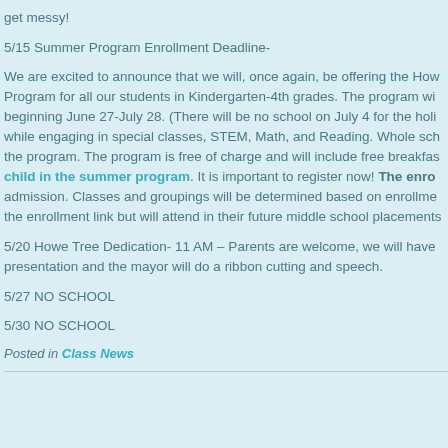get messy!
5/15 Summer Program Enrollment Deadline-
We are excited to announce that we will, once again, be offering the Howe Program for all our students in Kindergarten-4th grades. The program will beginning June 27-July 28. (There will be no school on July 4 for the holiday) while engaging in special classes, STEM, Math, and Reading. Whole school the program. The program is free of charge and will include free breakfast. child in the summer program. It is important to register now! The enrollment admission. Classes and groupings will be determined based on enrollment the enrollment link but will attend in their future middle school placement.
5/20 Howe Tree Dedication- 11 AM – Parents are welcome, we will have presentation and the mayor will do a ribbon cutting and speech.
5/27 NO SCHOOL
5/30 NO SCHOOL
Posted in Class News